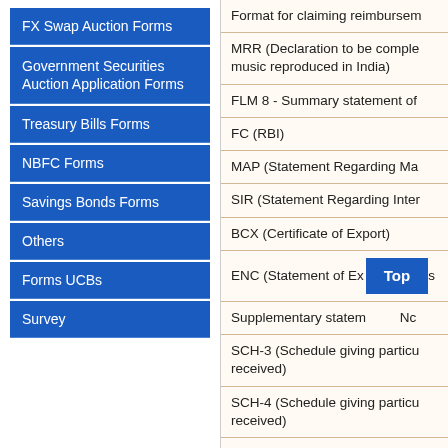FX Swap Auction Forms
Government Securities Auction Application Forms
Treasury Bills Forms
NBFC Forms
Savings Bonds Forms
Others
Forms UCBs
Survey
Format for claiming reimbursem
MRR (Declaration to be comple music reproduced in India)
FLM 8 - Summary statement of
FC (RBI)
MAP (Statement Regarding Ma
SIR (Statement Regarding Inter
BCX (Certificate of Export)
ENC (Statement of Ex… s
Supplementary statem… Nc
SCH-3 (Schedule giving particu received)
SCH-4 (Schedule giving particu received)
SCH-5 (Schedule giving details
SCH-6 (Schedule giving details
FLM 8 (Summary statement of p
Currency Declaration Form (CD
ECB 6 (Application for permissi Scheme/ USD10 million Schem